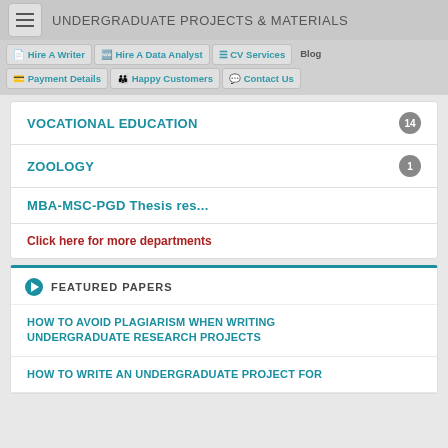UNDERGRADUATE PROJECTS & MATERIALS
Hire A Writer | Hire A Data Analyst | CV Services | Blog | Payment Details | Happy Customers | Contact Us
VOCATIONAL EDUCATION 14
ZOOLOGY 1
MBA-MSC-PGD Thesis res...
Click here for more departments
FEATURED PAPERS
HOW TO AVOID PLAGIARISM WHEN WRITING UNDERGRADUATE RESEARCH PROJECTS
HOW TO WRITE AN UNDERGRADUATE PROJECT FOR